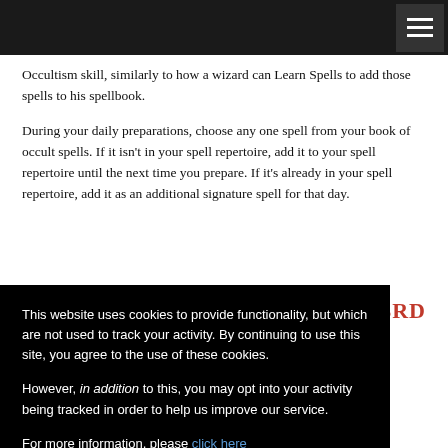Occultism skill, similarly to how a wizard can Learn Spells to add those spells to his spellbook.
During your daily preparations, choose any one spell from your book of occult spells. If it isn't in your spell repertoire, add it to your spell repertoire until the next time you prepare. If it's already in your spell repertoire, add it as an additional signature spell for that day.
3RD
more flexibly. For e one spell of that d to learn parately; instead, 've learned a nimum, you can t learning those ll, you can e same spell level
This website uses cookies to provide functionality, but which are not used to track your activity. By continuing to use this site, you agree to the use of these cookies.

However, in addition to this, you may opt into your activity being tracked in order to help us improve our service.

For more information, please click here